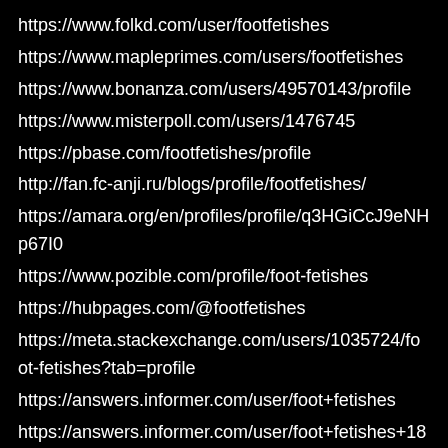https://www.folkd.com/user/footfetishes
https://www.mapleprimes.com/users/footfetishes
https://www.bonanza.com/users/49570143/profile
https://www.misterpoll.com/users/1476745
https://pbase.com/footfetishes/profile
http://fan.fc-anji.ru/blogs/profile/footfetishes/
https://amara.org/en/profiles/profile/q3HGiCcJ9eNHp67I0
https://www.pozible.com/profile/foot-fetishes
https://hubpages.com/@footfetishes
https://meta.stackexchange.com/users/1035724/foot-fetishes?tab=profile
https://answers.informer.com/user/foot+fetishes
https://answers.informer.com/user/foot+fetishes+181536
https://www.lumberjocks.com/footfetishes